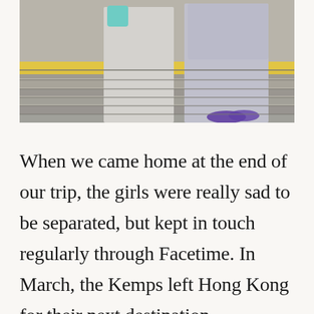[Figure (photo): Photo showing lower bodies of two children standing on a wooden deck platform with a yellow stripe. One child wears light grey leggings and a teal item, the other wears a grey tulle skirt and purple shoes.]
When we came home at the end of our trip, the girls were really sad to be separated, but kept in touch regularly through Facetime. In March, the Kemps left Hong Kong for their next destination–